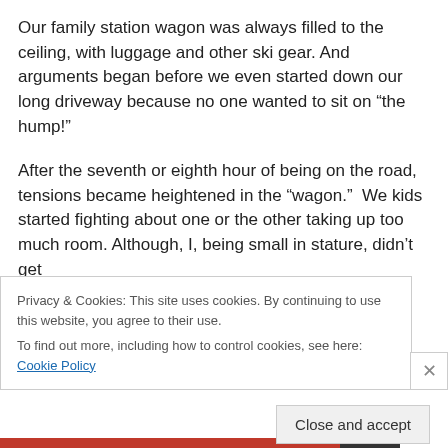Our family station wagon was always filled to the ceiling, with luggage and other ski gear. And arguments began before we even started down our long driveway because no one wanted to sit on “the hump!”
After the seventh or eighth hour of being on the road, tensions became heightened in the “wagon.”  We kids started fighting about one or the other taking up too much room. Although, I, being small in stature, didn’t get
Privacy & Cookies: This site uses cookies. By continuing to use this website, you agree to their use.
To find out more, including how to control cookies, see here: Cookie Policy
Close and accept